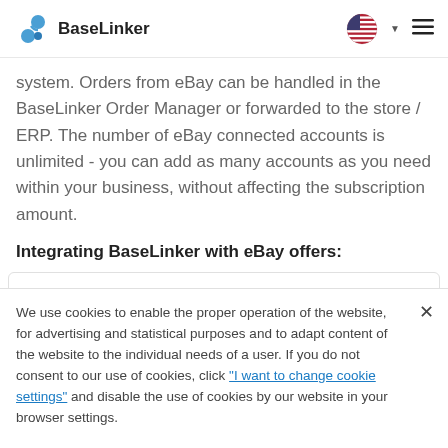BaseLinker
system. Orders from eBay can be handled in the BaseLinker Order Manager or forwarded to the store / ERP. The number of eBay connected accounts is unlimited - you can add as many accounts as you need within your business, without affecting the subscription amount.
Integrating BaseLinker with eBay offers:
listing thousands of offers with just a few
We use cookies to enable the proper operation of the website, for advertising and statistical purposes and to adapt content of the website to the individual needs of a user. If you do not consent to our use of cookies, click "I want to change cookie settings" and disable the use of cookies by our website in your browser settings.